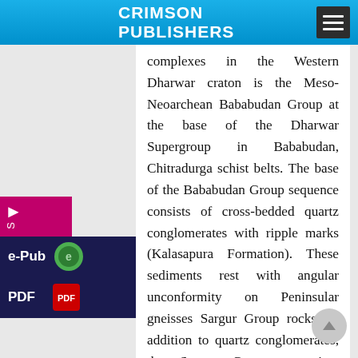CRIMSON PUBLISHERS
complexes in the Western Dharwar craton is the Meso-Neoarchean Bababudan Group at the base of the Dharwar Supergroup in Bababudan, Chitradurga schist belts. The base of the Bababudan Group sequence consists of cross-bedded quartz conglomerates with ripple marks (Kalasapura Formation). These sediments rest with angular unconformity on Peninsular gneisses Sargur Group rocks. In addition to quartz conglomerates, the Sargur Group comprises phyllites and BIF. Mafic (metaba salts and gabbroic rocks) and ultramafic bodies seem to occur among them as sills. Felsic